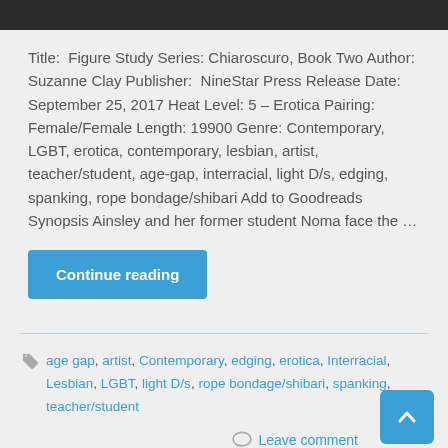[Figure (photo): Dark image bar at top of page]
Title:  Figure Study Series: Chiaroscuro, Book Two Author: Suzanne Clay Publisher:  NineStar Press Release Date: September 25, 2017 Heat Level: 5 – Erotica Pairing: Female/Female Length: 19900 Genre: Contemporary, LGBT, erotica, contemporary, lesbian, artist, teacher/student, age-gap, interracial, light D/s, edging, spanking, rope bondage/shibari Add to Goodreads Synopsis Ainsley and her former student Noma face the …
Continue reading
age gap, artist, Contemporary, edging, erotica, Interracial, Lesbian, LGBT, light D/s, rope bondage/shibari, spanking, teacher/student
Leave comment